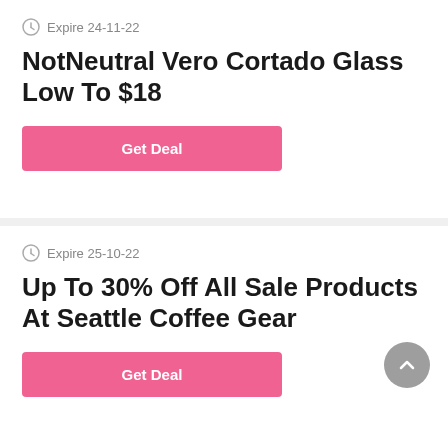Expire 24-11-22
NotNeutral Vero Cortado Glass Low To $18
Get Deal
Expire 25-10-22
Up To 30% Off All Sale Products At Seattle Coffee Gear
Get Deal